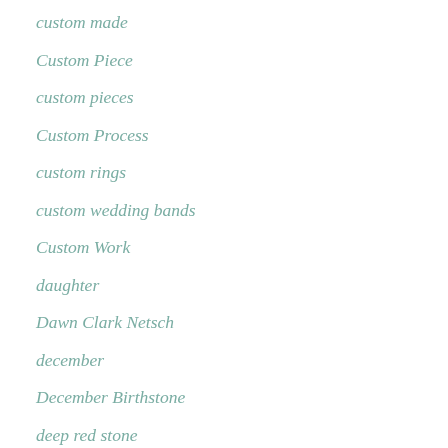custom made
Custom Piece
custom pieces
Custom Process
custom rings
custom wedding bands
Custom Work
daughter
Dawn Clark Netsch
december
December Birthstone
deep red stone
delicate
Denver Art Museum